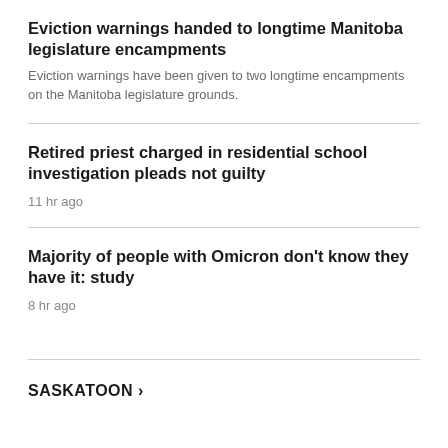Eviction warnings handed to longtime Manitoba legislature encampments
Eviction warnings have been given to two longtime encampments on the Manitoba legislature grounds.
Retired priest charged in residential school investigation pleads not guilty
11 hr ago
Majority of people with Omicron don't know they have it: study
8 hr ago
SASKATOON >